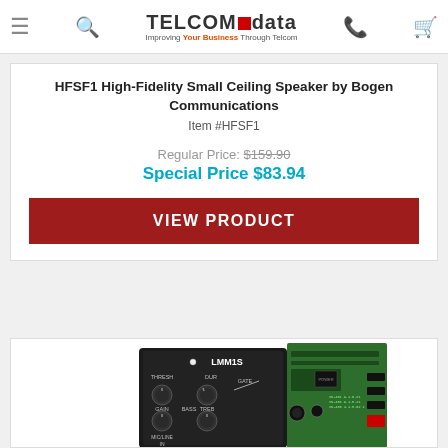TELCOM data — Improving Your Business Through Telcom
HFSF1 High-Fidelity Small Ceiling Speaker by Bogen Communications
Item #HFSF1
Regular Price: $159.90
Special Price $83.94
VIEW PRODUCT
[Figure (photo): Photo of LMM1S audio module showing front panel with knobs labeled THRESH, DUR, GATE, TREB, GAIN, BASS, MIC/LINE IN, and the circuit board on the back.]